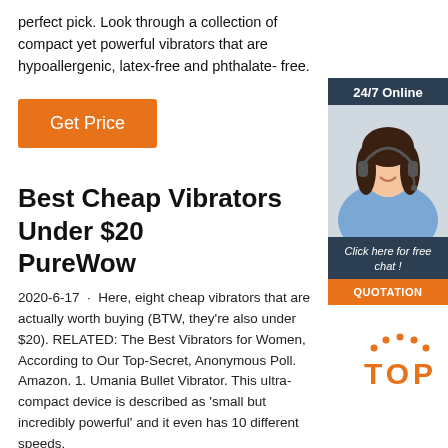perfect pick. Look through a collection of compact yet powerful vibrators that are hypoallergenic, latex-free and phthalate- free.
[Figure (other): Orange 'Get Price' button]
[Figure (other): Sidebar widget showing '24/7 Online' with a photo of a woman with headset, 'Click here for free chat!' text, and an orange QUOTATION button]
Best Cheap Vibrators Under $20 PureWow
2020-6-17 · Here, eight cheap vibrators that are actually worth buying (BTW, they're also under $20). RELATED: The Best Vibrators for Women, According to Our Top-Secret, Anonymous Poll. Amazon. 1. Umania Bullet Vibrator. This ultra-compact device is described as 'small but incredibly powerful' and it even has 10 different speeds.
[Figure (logo): Orange and red 'TOP' badge with dots above]
[Figure (other): Orange 'Get Price' button at bottom]